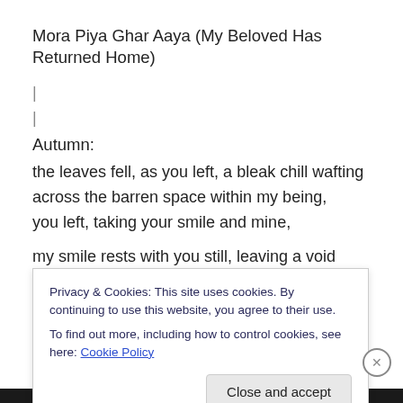Mora Piya Ghar Aaya (My Beloved Has Returned Home)
|
|
Autumn:
the leaves fell, as you left, a bleak chill wafting across the barren space within my being,
you left, taking your smile and mine,
my smile rests with you still, leaving a void impossible to
Privacy & Cookies: This site uses cookies. By continuing to use this website, you agree to their use.
To find out more, including how to control cookies, see here: Cookie Policy